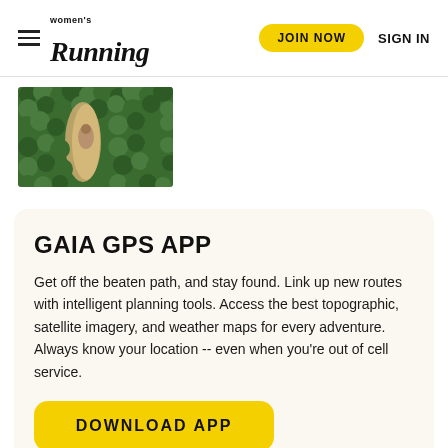Women's Running — JOIN NOW   SIGN IN
[Figure (photo): Aerial view of a runner on a forest trail surrounded by green trees and foliage — top-down perspective showing a tan/sandy path through dense green canopy.]
GAIA GPS APP
Get off the beaten path, and stay found. Link up new routes with intelligent planning tools. Access the best topographic, satellite imagery, and weather maps for every adventure. Always know your location -- even when you're out of cell service.
DOWNLOAD APP